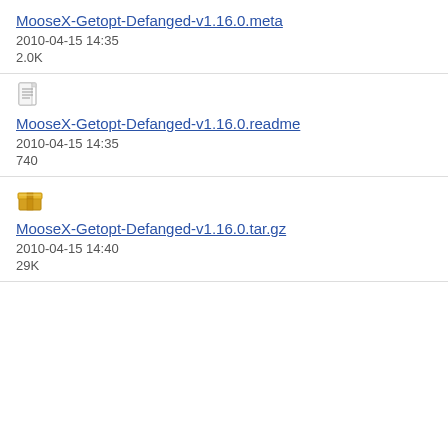MooseX-Getopt-Defanged-v1.16.0.meta
2010-04-15 14:35
2.0K
[Figure (illustration): Document/text file icon]
MooseX-Getopt-Defanged-v1.16.0.readme
2010-04-15 14:35
740
[Figure (illustration): Package/archive file icon (gold box)]
MooseX-Getopt-Defanged-v1.16.0.tar.gz
2010-04-15 14:40
29K